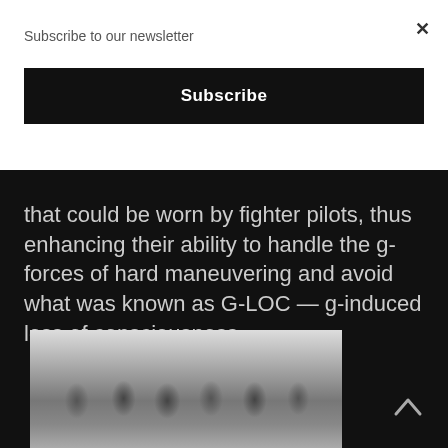Subscribe to our newsletter
×
Subscribe
that could be worn by fighter pilots, thus enhancing their ability to handle the g-forces of hard maneuvering and avoid what was known as G-LOC — g-induced loss of consciousness.
[Figure (photo): Black and white historical photograph of a group of men standing in front of an aircraft, likely from World War II era.]